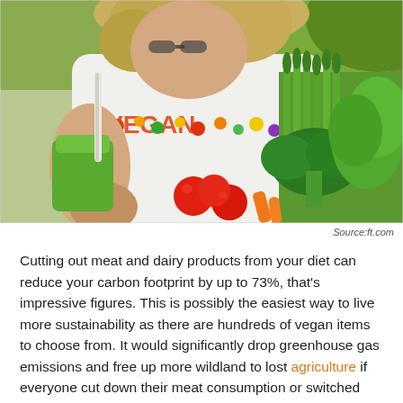[Figure (photo): Person wearing a white vegan-themed t-shirt with vegetable graphics, drinking a green smoothie from a cup with a straw, while holding a bundle of fresh vegetables including asparagus, broccoli, tomatoes, and parsley.]
Source:ft.com
Cutting out meat and dairy products from your diet can reduce your carbon footprint by up to 73%, that's impressive figures. This is possibly the easiest way to live more sustainability as there are hundreds of vegan items to choose from. It would significantly drop greenhouse gas emissions and free up more wildland to lost agriculture if everyone cut down their meat consumption or switched out a day in their week to be vegan. Admittedly, being vegan full-time